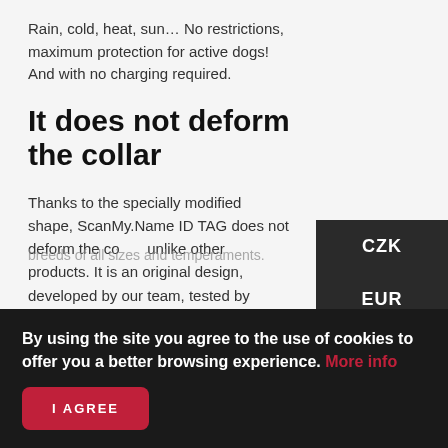Rain, cold, heat, sun… No restrictions, maximum protection for active dogs! And with no charging required.
It does not deform the collar
Thanks to the specially modified shape, ScanMy.Name ID TAG does not deform the collar, unlike other products. It is an original design, developed by our team, tested by various dog breeds of all sizes and temperaments.
By using the site you agree to the use of cookies to offer you a better browsing experience. More info
I AGREE